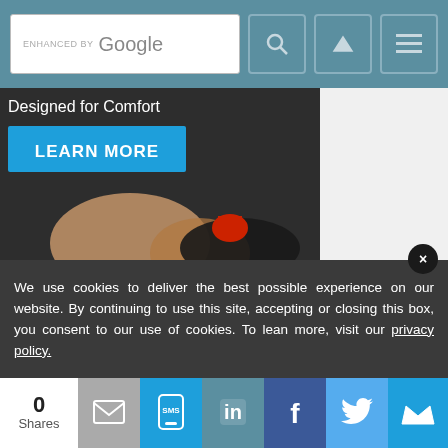ENHANCED BY Google [search bar with search icon, up arrow icon, menu icon]
[Figure (photo): Hero banner showing a person's arm/hand near a mechanical tool or component, with text 'Designed for Comfort' and a blue 'LEARN MORE' button overlay]
We use cookies to deliver the best possible experience on our website. By continuing to use this site, accepting or closing this box, you consent to our use of cookies. To learn more, visit our privacy policy.
0 Shares | Email share | SMS share | LinkedIn share | Facebook share | Twitter share | More share